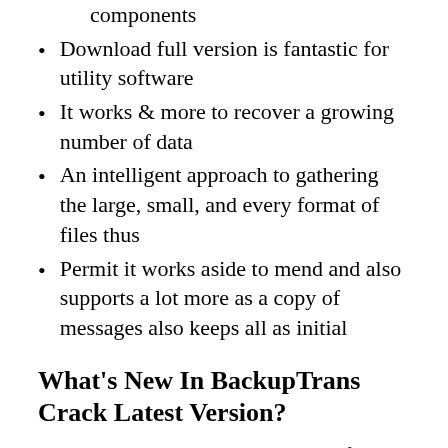components
Download full version is fantastic for utility software
It works & more to recover a growing number of data
An intelligent approach to gathering the large, small, and every format of files thus
Permit it works aside to mend and also supports a lot more as a copy of messages also keeps all as initial
What's New In BackupTrans Crack Latest Version?
Backup WhatsApp chat records from